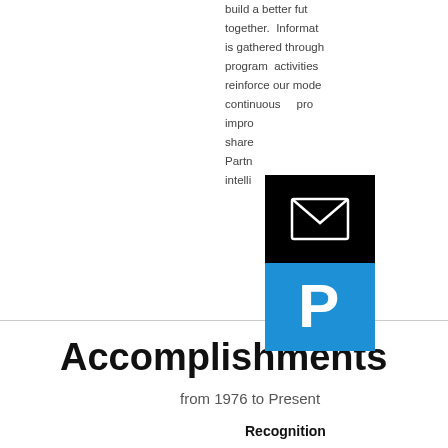build a better future together. Information is gathered through program activities reinforce our model continuous process improvements shared Partners business intelligence
[Figure (other): Black square icon with white envelope/email symbol]
[Figure (other): Blue square icon with white PayPal logo P symbol]
Accomplishments
from 1976 to Present
Recognition
Awards